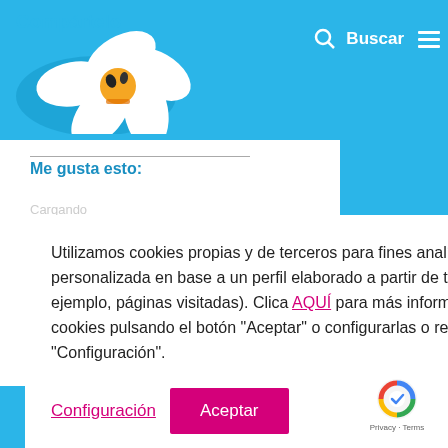Compártelo — Buscar [menu icon]
Me gusta esto:
Utilizamos cookies propias y de terceros para fines analíticos y para mostrarte publicidad personalizada en base a un perfil elaborado a partir de tus hábitos de navegación (por ejemplo, páginas visitadas). Clica AQUÍ para más información. Puedes aceptar todas las cookies pulsando el botón "Aceptar" o configurarlas o rechazar su uso pulsando el botón "Configuración".
Configuración
Aceptar